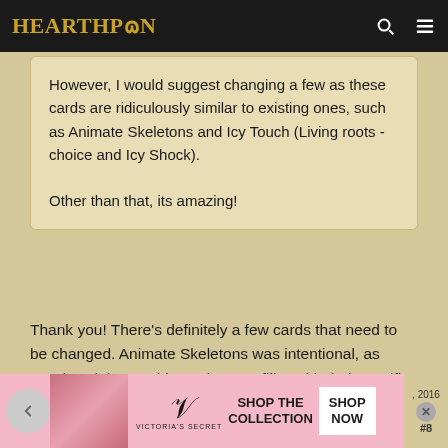HearthPwn
However, I would suggest changing a few as these cards are ridiculously similar to existing ones, such as Animate Skeletons and Icy Touch (Living roots -choice and Icy Shock).

Other than that, its amazing!
Thank you! There's definitely a few cards that need to be changed. Animate Skeletons was intentional, as Death Knights could use them as filler with their sacrifice mechanics. Icy Touch is identical to Frost Shock...but no one uses Frost Shock, and I wanted Death Knights to have a cheap freeze and ping spell, so I thought, why not.
[Figure (screenshot): Victoria's Secret advertisement banner with model photo, VS logo, 'SHOP THE COLLECTION' text, and 'SHOP NOW' button]